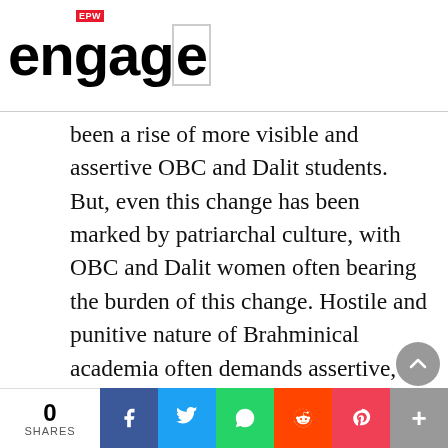EPW engage
been a rise of more visible and assertive OBC and Dalit students. But, even this change has been marked by patriarchal culture, with OBC and Dalit women often bearing the burden of this change. Hostile and punitive nature of Brahminical academia often demands assertive, self-righteous and militant personality from Dalit-Bahujan students. But the same “strong and resistant persona” can be counter–productive and in effect exclusionary when it takes recourse to
0 SHARES | Facebook | Twitter | WhatsApp | Reddit | Pocket | More